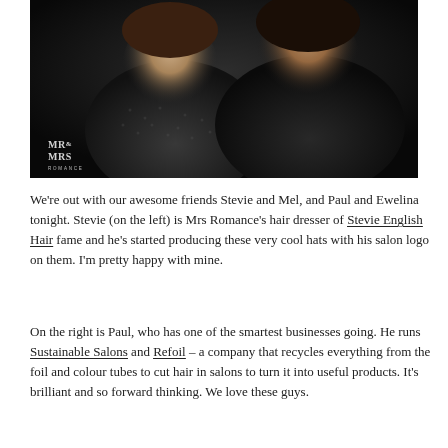[Figure (photo): Two men smiling together in a dark setting. The left person wears a dark patterned shirt, the right person wears a black t-shirt. A 'MR & MRS ROMANCE' watermark is visible in the lower left corner of the photo.]
We're out with our awesome friends Stevie and Mel, and Paul and Ewelina tonight. Stevie (on the left) is Mrs Romance's hair dresser of Stevie English Hair fame and he's started producing these very cool hats with his salon logo on them. I'm pretty happy with mine.
On the right is Paul, who has one of the smartest businesses going. He runs Sustainable Salons and Refoil – a company that recycles everything from the foil and colour tubes to cut hair in salons to turn it into useful products. It's brilliant and so forward thinking. We love these guys.